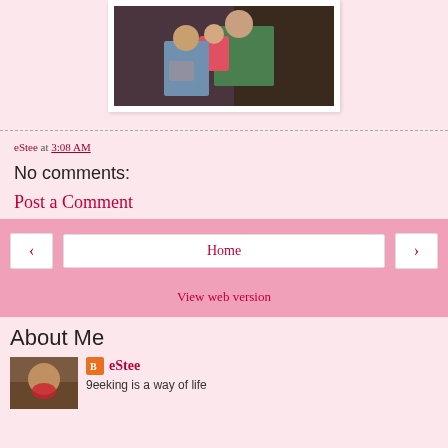[Figure (photo): A man in a green shirt holding a baby in a striped outfit, with a woman in a denim skirt beside him, indoor setting]
eStee at 3:08 AM
No comments:
Post a Comment
[Figure (infographic): Navigation bar with back arrow button, Home button, and forward arrow button]
View web version
About Me
[Figure (photo): Profile photo of eStee]
eStee
9eeking is a way of life